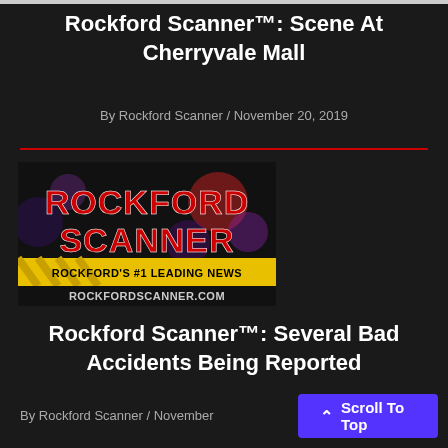Rockford Scanner™: Scene At Cherryvale Mall
By Rockford Scanner / November 20, 2019
[Figure (logo): Rockford Scanner logo with text 'ROCKFORD SCANNER', 'ROCKFORD'S #1 LEADING NEWS', 'ROCKFORDSCANNER.COM' on dark background with caution tape]
Rockford Scanner™: Several Bad Accidents Being Reported
By Rockford Scanner / November
Scroll To Top